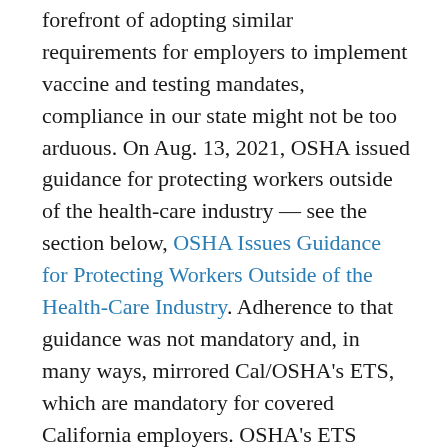forefront of adopting similar requirements for employers to implement vaccine and testing mandates, compliance in our state might not be too arduous. On Aug. 13, 2021, OSHA issued guidance for protecting workers outside of the health-care industry — see the section below, OSHA Issues Guidance for Protecting Workers Outside of the Health-Care Industry. Adherence to that guidance was not mandatory and, in many ways, mirrored Cal/OSHA's ETS, which are mandatory for covered California employers. OSHA's ETS could make mandatory previously suggested measures. Some of them include: